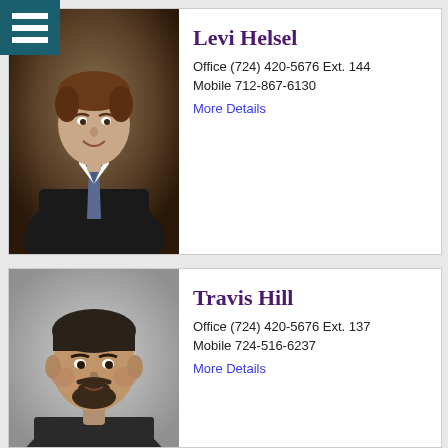[Figure (photo): Hamburger menu icon (three horizontal white bars on teal/dark green background) in top-left corner]
[Figure (photo): Professional headshot of Levi Helsel, a young man in a dark suit with patterned tie, against a brown studio background]
Levi Helsel
Office (724) 420-5676 Ext. 144
Mobile 712-867-6130
More Details
[Figure (photo): Headshot of Travis Hill, a heavyset man with short hair and goatee, wearing a dark shirt, against a light grey background]
Travis Hill
Office (724) 420-5676 Ext. 137
Mobile 724-516-6237
More Details